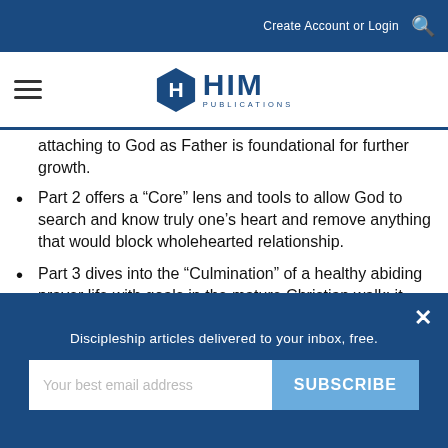Create Account or Login
[Figure (logo): HIM Publications logo — hexagon with H, text HIM PUBLICATIONS]
attaching to God as Father is foundational for further growth.
Part 2 offers a “Core” lens and tools to allow God to search and know truly one’s heart and remove anything that would block wholehearted relationship.
Part 3 dives into the “Culmination” of a healthy abiding prayer life with goals in the mature Christian walk; it also explores complex themes that can hinder even seasoned followers of Christ.
Part 1: The Connection
Discipleship articles delivered to your inbox, free.